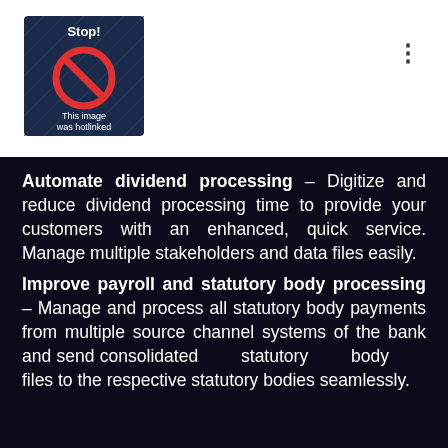[Figure (photo): A 'Stop! This image was hotlinked' placeholder image with a red prohibition symbol on a dark blue patterned background.]
Automate dividend processing – Digitize and reduce dividend processing time to provide your customers with an enhanced, quick service. Manage multiple stakeholders and data files easily.
Improve payroll and statutory body processing – Manage and process all statutory body payments from multiple source channel systems of the bank and send consolidated statutory body files to the respective statutory bodies seamlessly.